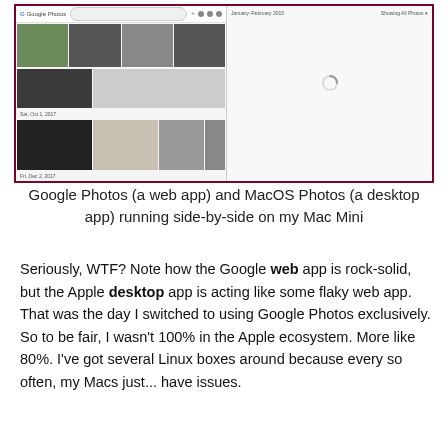[Figure (screenshot): Side-by-side screenshot of Google Photos (web app, left panel showing photo grid) and MacOS Photos (desktop app, right panel showing loading spinner) running on a Mac Mini]
Google Photos (a web app) and MacOS Photos (a desktop app) running side-by-side on my Mac Mini
Seriously, WTF? Note how the Google web app is rock-solid, but the Apple desktop app is acting like some flaky web app. That was the day I switched to using Google Photos exclusively. So to be fair, I wasn't 100% in the Apple ecosystem. More like 80%. I've got several Linux boxes around because every so often, my Macs just... have issues.